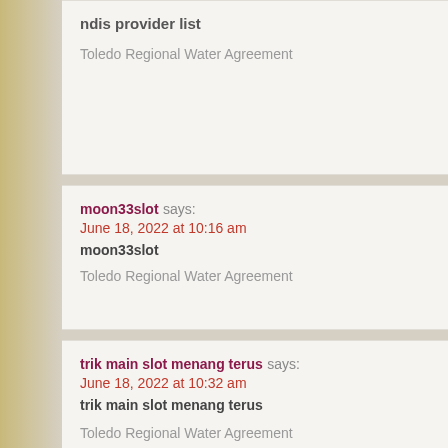ndis provider list
Toledo Regional Water Agreement
moon33slot says:
June 18, 2022 at 10:16 am
moon33slot
Toledo Regional Water Agreement
trik main slot menang terus says:
June 18, 2022 at 10:32 am
trik main slot menang terus
Toledo Regional Water Agreement
judi slot pulsa says:
June 18, 2022 at 10:51 am
judi slot pulsa
Toledo Regional Water Agreement